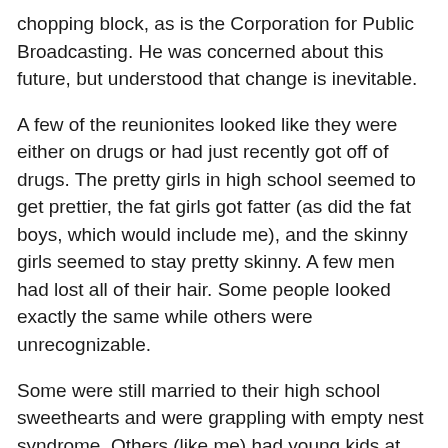chopping block, as is the Corporation for Public Broadcasting.  He was concerned about this future, but understood that change is inevitable.
A few of the reunionites looked like they were either on drugs or had just recently got off of drugs.  The pretty girls in high school seemed to get prettier, the fat girls got fatter (as did the fat boys, which would include me), and the skinny girls seemed to stay pretty skinny.  A few men had lost all of their hair.  Some people looked exactly the same while others were unrecognizable.
Some were still married to their high school sweethearts and were grappling with empty nest syndrome.  Others (like me) had young kids at home.  There were a couple of grandparents.  One of my buddies is still footloose and fancy- free.
Most in the class seemed to be slowly but surely pulling out of the doldrums of the Great Recession.